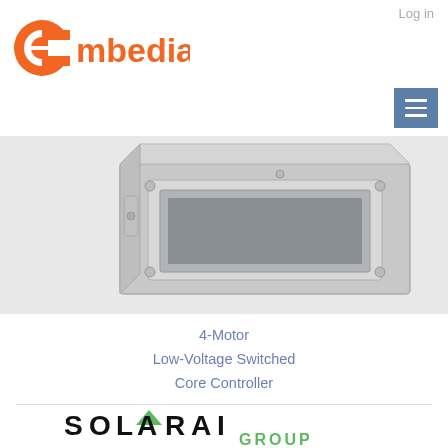Log in
[Figure (logo): Embedia logo - orange circle with 'e' and 'mbedia' text in orange]
[Figure (other): Navigation hamburger menu button - blue/steel square with three horizontal white lines]
[Figure (photo): Photo of a gray metal electrical enclosure/box (4-Motor Low-Voltage Switched Core Controller) on light background]
4-Motor
Low-Voltage Switched
Core Controller
[Figure (logo): SOLARAI GROUP logo - SOLARAI in large bold black uppercase with green triangle above the A, GROUP in large green letters below]